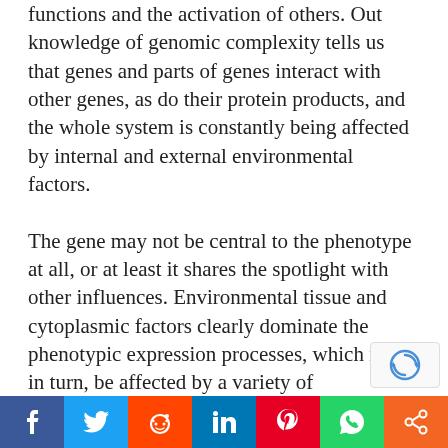functions and the activation of others. Out knowledge of genomic complexity tells us that genes and parts of genes interact with other genes, as do their protein products, and the whole system is constantly being affected by internal and external environmental factors. The gene may not be central to the phenotype at all, or at least it shares the spotlight with other influences. Environmental tissue and cytoplasmic factors clearly dominate the phenotypic expression processes, which may in turn, be affected by a variety of unpredictable protein-interaction events. This view is not shared by all molecular biologists, who disagree about the precise roles of genes and other factors, but it signals many scientists discomfort with a strictly deterministic view of the
[Figure (other): Social sharing bar with buttons: Facebook (blue), Twitter (light blue), Reddit (orange-red), LinkedIn (dark blue), Pinterest (red), WhatsApp (green), Share (orange)]